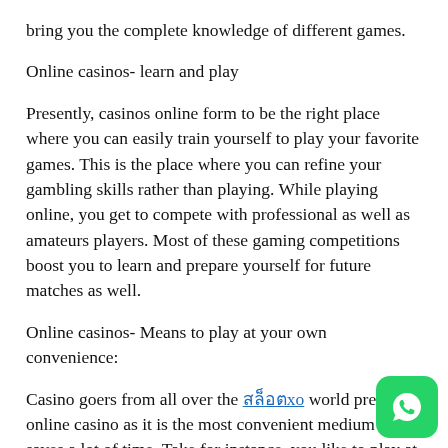bring you the complete knowledge of different games.
Online casinos- learn and play
Presently, casinos online form to be the right place where you can easily train yourself to play your favorite games. This is the place where you can refine your gambling skills rather than playing. While playing online, you get to compete with professional as well as amateurs players. Most of these gaming competitions boost you to learn and prepare yourself for future matches as well.
Online casinos- Means to play at your own convenience:
Casino goers from all over the สล็อตxo world prefer online casino as it is the most convenient medium that saves a lot of time. Take for instance, you like to play at a city casino, do you think that it is always possible for you to plan some extra time out of your busy schedule. In most cases, driving
[Figure (logo): WhatsApp button icon in green rounded square]